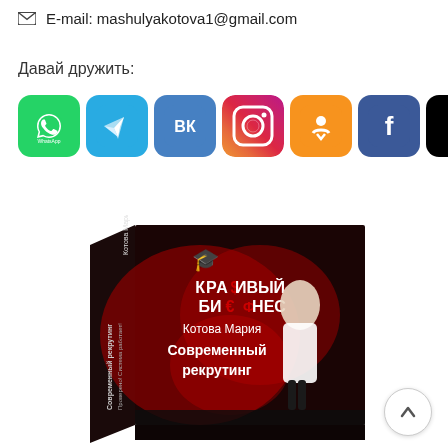E-mail: mashulyakotova1@gmail.com
Давай дружить:
[Figure (illustration): Row of social media app icons: WhatsApp (green), Telegram (blue), VKontakte (blue), Instagram (gradient), Odnoklassniki (orange), Facebook (blue), TikTok (black with musical note)]
[Figure (photo): Book cover for 'Красивый Бизнес' (Beautiful Business) by Котова Мария (Kotova Maria) titled 'Современный рекрутинг' (Modern Recruiting) — dark red background with a woman in white coat and graduation cap logo]